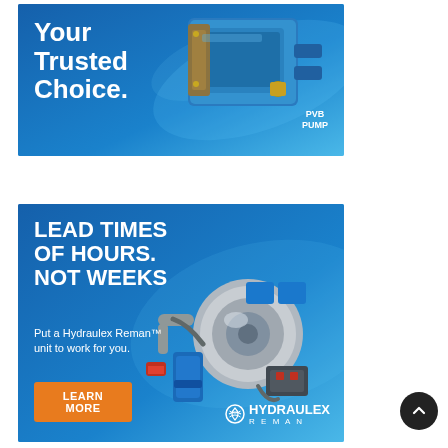[Figure (illustration): Advertisement banner for a PVB Pump with blue background, white bold text 'Your Trusted Choice.' and image of a blue/gold hydraulic pump with label 'PVB PUMP']
[Figure (illustration): Advertisement banner for Hydraulex Reman with blue background, white bold text 'LEAD TIMES OF HOURS. NOT WEEKS', subtext 'Put a Hydraulex Reman unit to work for you.', orange 'LEARN MORE' button, Hydraulex Reman logo, and image of various hydraulic components/pumps]